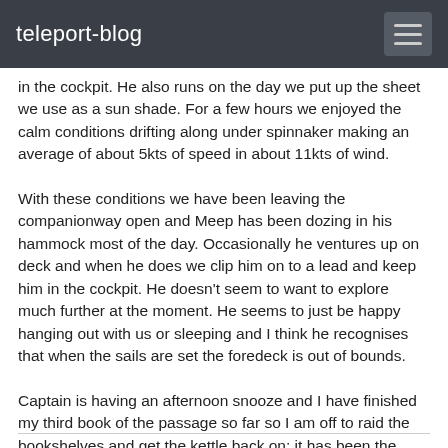teleport-blog
in the cockpit. He also runs on the day we put up the sheet we use as a sun shade. For a few hours we enjoyed the calm conditions drifting along under spinnaker making an average of about 5kts of speed in about 11kts of wind.
With these conditions we have been leaving the companionway open and Meep has been dozing in his hammock most of the day. Occasionally he ventures up on deck and when he does we clip him on to a lead and keep him in the cockpit. He doesn't seem to want to explore much further at the moment. He seems to just be happy hanging out with us or sleeping and I think he recognises that when the sails are set the foredeck is out of bounds.
Captain is having an afternoon snooze and I have finished my third book of the passage so far so I am off to raid the bookshelves and get the kettle back on; it has been the hardest working piece of equipment on this boat by far this weekend!!